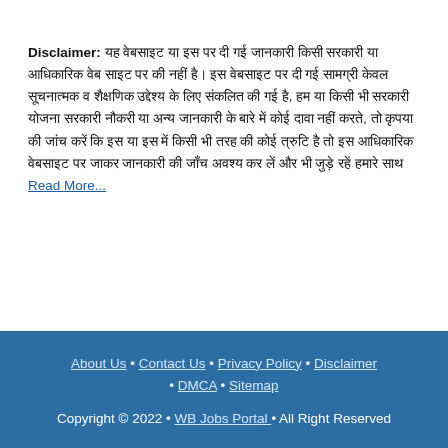Disclaimer: [Hindi/Bengali text disclaimer content] Read More...
About Us • Contact Us • Privacy Policy • Disclaimer • DMCA • Sitemap
Copyright © 2022 • WB Jobs Portal • All Right Reserved